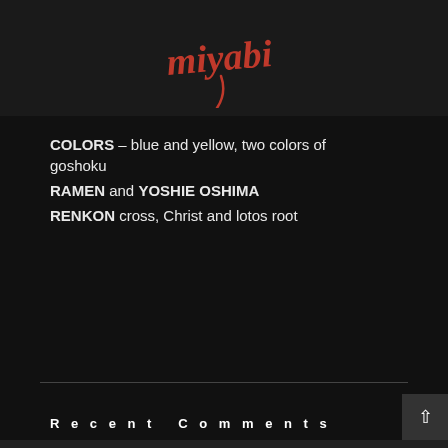miyabi logo with search and menu icons
COLORS – blue and yellow, two colors of goshoku
RAMEN and YOSHIE OSHIMA
RENKON cross, Christ and lotos root
Recent Comments